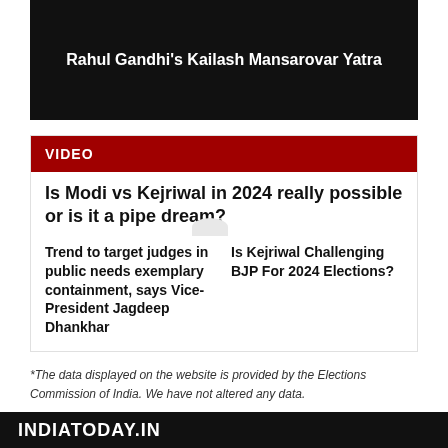[Figure (photo): Dark/black banner image with white bold text: Rahul Gandhi's Kailash Mansarovar Yatra]
Rahul Gandhi's Kailash Mansarovar Yatra
VIDEO
Is Modi vs Kejriwal in 2024 really possible or is it a pipe dream?
Trend to target judges in public needs exemplary containment, says Vice-President Jagdeep Dhankhar
Is Kejriwal Challenging BJP For 2024 Elections?
*The data displayed on the website is provided by the Elections Commission of India. We have not altered any data.
INDIATODAY.IN